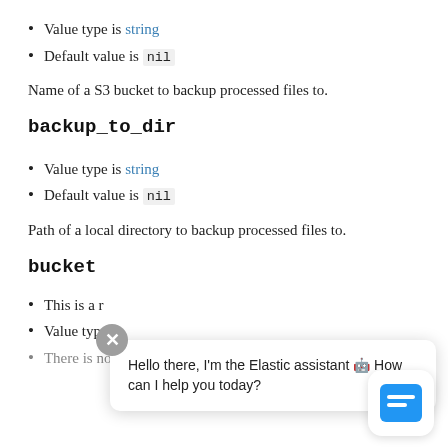Value type is string
Default value is nil
Name of a S3 bucket to backup processed files to.
backup_to_dir
Value type is string
Default value is nil
Path of a local directory to backup processed files to.
bucket
This is a r[equired setting]
Value type[...]
There is no default value for this setting